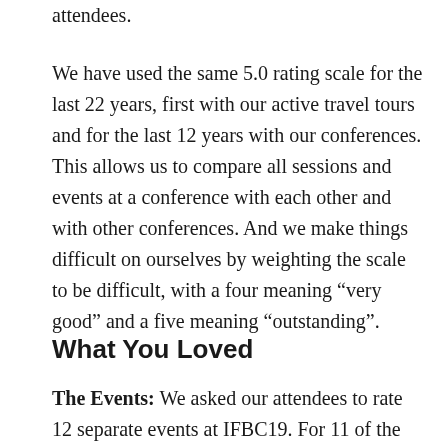attendees.
We have used the same 5.0 rating scale for the last 22 years, first with our active travel tours and for the last 12 years with our conferences. This allows us to compare all sessions and events at a conference with each other and with other conferences. And we make things difficult on ourselves by weighting the scale to be difficult, with a four meaning “very good” and a five meaning “outstanding”.
What You Loved
The Events: We asked our attendees to rate 12 separate events at IFBC19. For 11 of the 12,